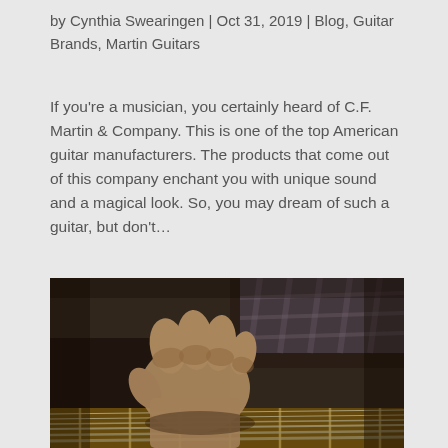by Cynthia Swearingen | Oct 31, 2019 | Blog, Guitar Brands, Martin Guitars
If you're a musician, you certainly heard of C.F. Martin & Company. This is one of the top American guitar manufacturers. The products that come out of this company enchant you with unique sound and a magical look. So, you may dream of such a guitar, but don't…
[Figure (photo): Close-up photo of a person's hand playing an acoustic guitar, pressing strings on the fretboard, with blurred background showing a plaid shirt.]